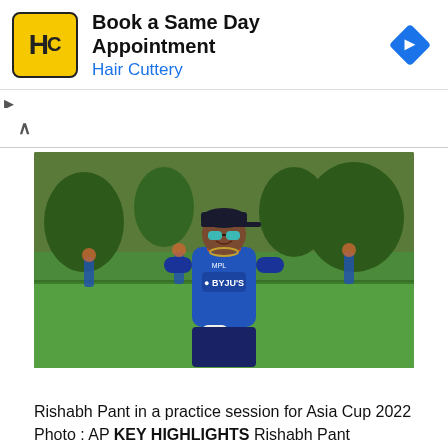[Figure (infographic): Hair Cuttery advertisement banner: Book a Same Day Appointment with HC logo and blue navigation arrow icon]
[Figure (photo): Rishabh Pant smiling in Indian cricket team blue jersey with MPL and BYJU'S logos, wearing sunglasses, cap, and keeping gloves, during a practice session for Asia Cup 2022]
Rishabh Pant in a practice session for Asia Cup 2022 Photo : AP KEY HIGHLIGHTS Rishabh Pant captained Delhi Capitals in the